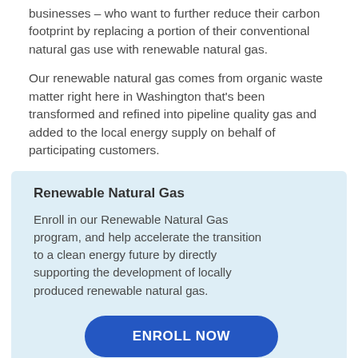businesses – who want to further reduce their carbon footprint by replacing a portion of their conventional natural gas use with renewable natural gas.
Our renewable natural gas comes from organic waste matter right here in Washington that's been transformed and refined into pipeline quality gas and added to the local energy supply on behalf of participating customers.
Renewable Natural Gas
Enroll in our Renewable Natural Gas program, and help accelerate the transition to a clean energy future by directly supporting the development of locally produced renewable natural gas.
ENROLL NOW